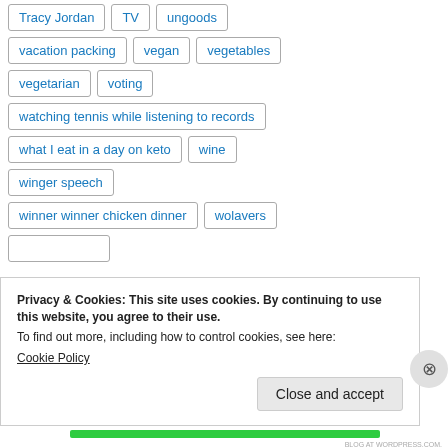Tracy Jordan
TV
ungoods
vacation packing
vegan
vegetables
vegetarian
voting
watching tennis while listening to records
what I eat in a day on keto
wine
winger speech
winner winner chicken dinner
wolavers
Privacy & Cookies: This site uses cookies. By continuing to use this website, you agree to their use.
To find out more, including how to control cookies, see here: Cookie Policy
Close and accept